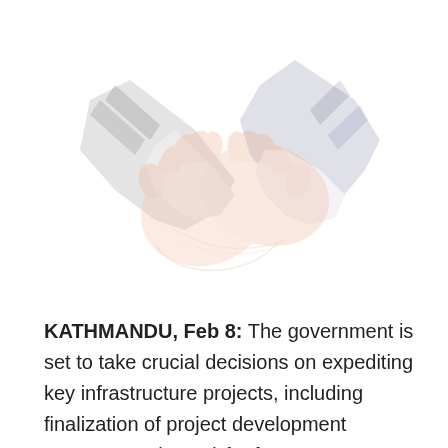[Figure (illustration): A faded/watermark-style illustration of two people shaking hands, one in a dark grey suit sleeve and one in a lighter sleeve, depicted in a soft peach and grey color palette.]
KATHMANDU, Feb 8: The government is set to take crucial decisions on expediting key infrastructure projects, including finalization of project development agreements (PDAs) for four mega-hydropower projects, laying the groundwork for a